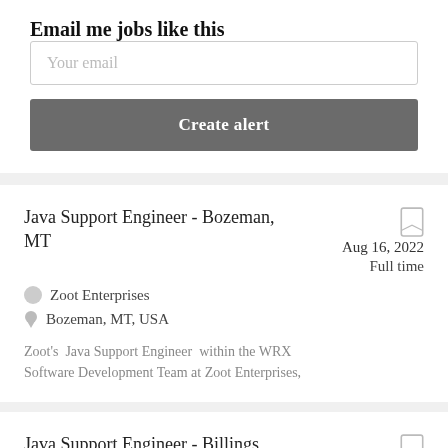Email me jobs like this
Your email
Create alert
Java Support Engineer - Bozeman, MT
Aug 16, 2022
Full time
Zoot Enterprises
Bozeman, MT, USA
Zoot's  Java Support Engineer  within the WRX Software Development Team at Zoot Enterprises,
Java Support Engineer - Billings